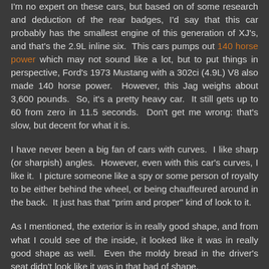I'm no expert on these cars, but based on of some research and deduction of the rear badges, I'd say that this car probably has the smallest engine of this generation of XJ's, and that's the 2.9L inline six. This cars pumps out 140 horse power which may not sound like a lot, but to put things in perspective, Ford's 1973 Mustang with a 302ci (4.9L) V8 also made 140 horse power. However, this Jag weighs about 3,600 pounds. So, it's a pretty heavy car. It still gets up to 60 from zero in 11.5 seconds. Don't get me wrong: that's slow, but decent for what it is.
I have never been a big fan of cars with curves. I like sharp (or sharpish) angles. However, even with this car's curves, I like it. I picture someone like a spy or some person of royalty to be either behind the wheel, or being chauffeured around in the back. It just has that "prim and proper" kind of look to it.
As I mentioned, the exterior is in really good shape, and from what I could see of the inside, it looked like it was in really good shape as well. Even the moldy bread in the driver's seat didn't look like it was in that bad of shape.